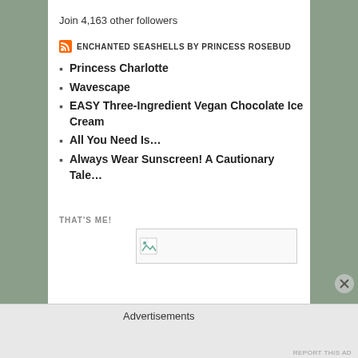Join 4,163 other followers
ENCHANTED SEASHELLS BY PRINCESS ROSEBUD
Princess Charlotte
Wavescape
EASY Three-Ingredient Vegan Chocolate Ice Cream
All You Need Is…
Always Wear Sunscreen! A Cautionary Tale…
THAT'S ME!
[Figure (photo): Broken image placeholder thumbnail]
Advertisements
REPORT THIS AD